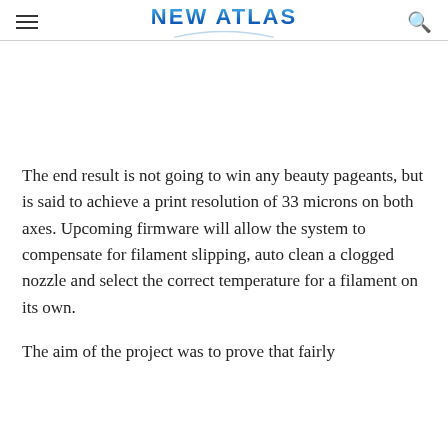NEW ATLAS
The end result is not going to win any beauty pageants, but is said to achieve a print resolution of 33 microns on both axes. Upcoming firmware will allow the system to compensate for filament slipping, auto clean a clogged nozzle and select the correct temperature for a filament on its own.
The aim of the project was to prove that fairly